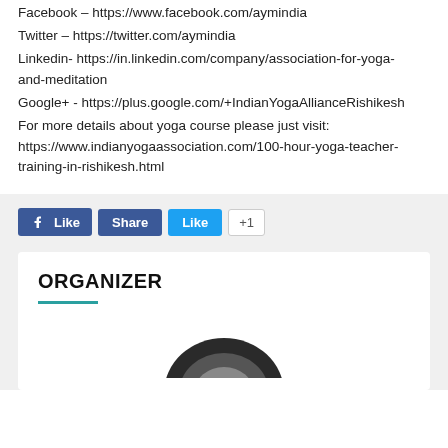YouTube – https://www.youtube.com/user/manchonyoga
Facebook – https://www.facebook.com/aymindia
Twitter – https://twitter.com/aymindia
Linkedin- https://in.linkedin.com/company/association-for-yoga-and-meditation
Google+ - https://plus.google.com/+IndianYogaAllianceRishikesh
For more details about yoga course please just visit: https://www.indianyogaassociation.com/100-hour-yoga-teacher-training-in-rishikesh.html
[Figure (screenshot): Social media Like, Share, and +1 buttons]
ORGANIZER
[Figure (photo): Partially visible circular logo or image at the bottom of the organizer box]